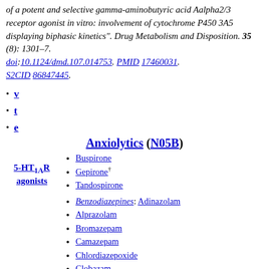of a potent and selective gamma-aminobutyric acid Aalpha2/3 receptor agonist in vitro: involvement of cytochrome P450 3A5 displaying biphasic kinetics". Drug Metabolism and Disposition. 35 (8): 1301–7. doi:10.1124/dmd.107.014753. PMID 17460031. S2CID 86847445.
v
t
e
Anxiolytics (N05B)
5-HT1A Ragonists
Buspirone
Gepirone†
Tandospirone
Benzodiazepines: Adinazolam
Alprazolam
Bromazepam
Camazepam
Chlordiazepoxide
Clobazam
Clonazepam
Clorazepate
Clotiazenam